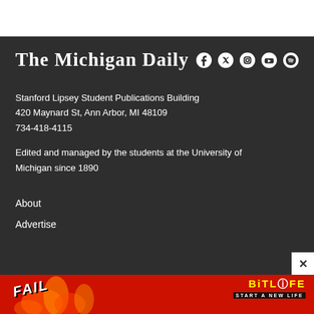The Michigan Daily
Stanford Lipsey Student Publications Building
420 Maynard St, Ann Arbor, MI 48109
734-418-4115
Edited and managed by the students at the University of Michigan since 1890
About
Advertise
[Figure (screenshot): BitLife advertisement banner with FAIL text, cartoon character, flames, and 'START A NEW LIFE' tagline]